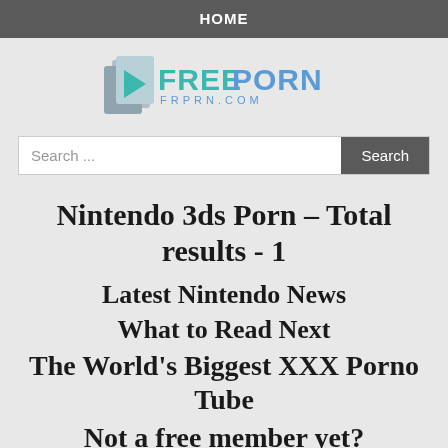HOME
[Figure (logo): FreePorn frprn.com logo with teal/blue arrow icon and bold teal text]
Search ...
Nintendo 3ds Porn – Total results - 1
Latest Nintendo News
What to Read Next
The World's Biggest XXX Porno Tube
Not a free member yet?